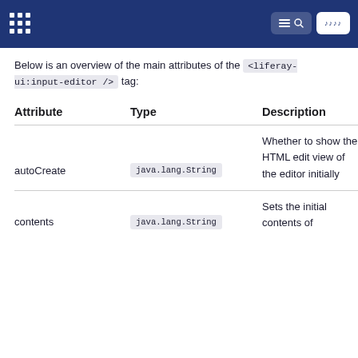Liferay documentation header navigation
Below is an overview of the main attributes of the <liferay-ui:input-editor /> tag:
| Attribute | Type | Description |
| --- | --- | --- |
| autoCreate | java.lang.String | Whether to show the HTML edit view of the editor initially |
| contents | java.lang.String | Sets the initial contents of |